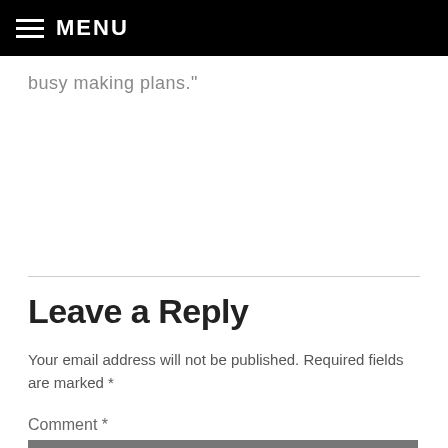MENU
busy making plans."
Leave a Reply
Your email address will not be published. Required fields are marked *
Comment *